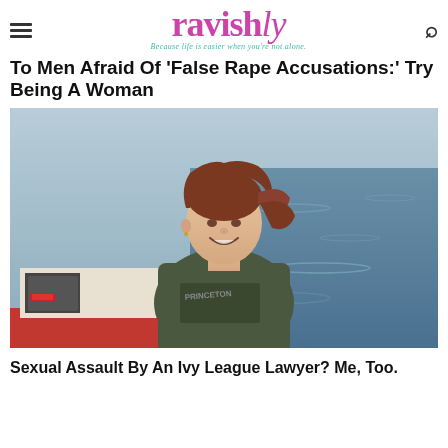ravishly — Because life is easier when you're not alone.
To Men Afraid Of 'False Rape Accusations:' Try Being A Woman
[Figure (photo): Young woman with brown hair smiling on a boat, wearing a dark university sweatshirt, with open water in the background]
Sexual Assault By An Ivy League Lawyer? Me, Too.